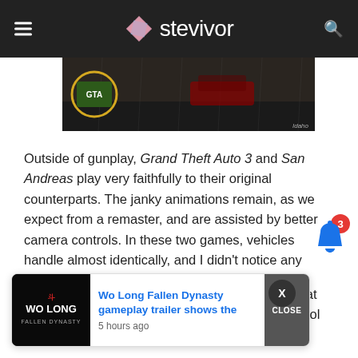stevivor
[Figure (screenshot): Dark rainy scene from Grand Theft Auto with a circular logo visible, watermark 'Idaho' in bottom right]
Outside of gunplay, Grand Theft Auto 3 and San Andreas play very faithfully to their original counterparts. The janky animations remain, as we expect from a remaster, and are assisted by better camera controls. In these two games, vehicles handle almost identically, and I didn't notice any major changes to the physics.
Enter Vice City, where it has all gone wrong. What in tarnation happened here? The vehicles control [...]ere they [...] all over the place, with reckless driving worthy of a
[Figure (screenshot): Wo Long Fallen Dynasty notification popup with game logo thumbnail, blue link text reading 'Wo Long Fallen Dynasty gameplay trailer shows the', timestamp '5 hours ago', and a CLOSE button]